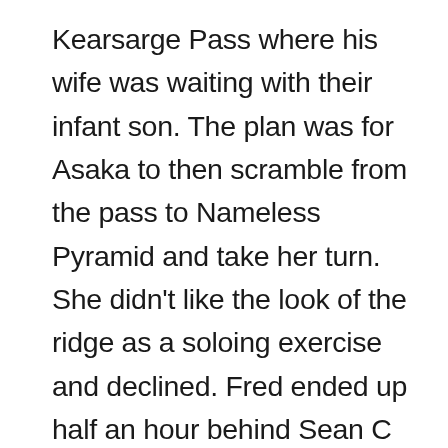Kearsarge Pass where his wife was waiting with their infant son. The plan was for Asaka to then scramble from the pass to Nameless Pyramid and take her turn. She didn't like the look of the ridge as a soloing exercise and declined. Fred ended up half an hour behind Sean C and an hour ahead of the next person. Meanwhile, Clement went off to Snow Crown, Rixford, Falcor and Mt. Gould in a wide tour around Kearsarge Pass. Not to be outdone, Grant did all those plus Glacier Spike and six of the Kearsarge Pinnacles. Once he realized he had missed Nameless Pyramid, Grant planned to revisit it at the end of the day to solo it as Tom G and Robert had done